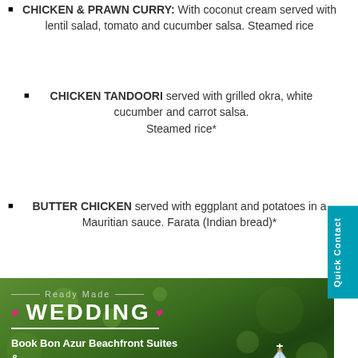CHICKEN & PRAWN CURRY: With coconut cream served with lentil salad, tomato and cucumber salsa. Steamed rice
CHICKEN TANDOORI served with grilled okra, white cucumber and carrot salsa. Steamed rice*
BUTTER CHICKEN served with eggplant and potatoes in a Mauritian sauce. Farata (Indian bread)*
[Figure (photo): Wedding promotional banner: 'Ready Made WEDDING - Book Bon Azur Beachfront Suites & Penthouses' with a diamond ring photo on a green bokeh background, pink Contact us button, and a Quick Contact tab on the right side]
Bon Azur Beachfront Suites & Penthouses Accommodation: